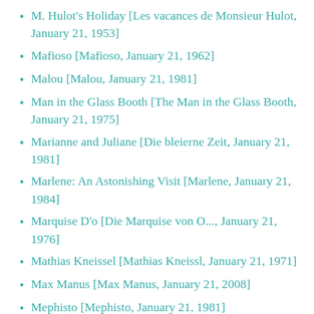M. Hulot's Holiday [Les vacances de Monsieur Hulot, January 21, 1953]
Mafioso [Mafioso, January 21, 1962]
Malou [Malou, January 21, 1981]
Man in the Glass Booth [The Man in the Glass Booth, January 21, 1975]
Marianne and Juliane [Die bleierne Zeit, January 21, 1981]
Marlene: An Astonishing Visit [Marlene, January 21, 1984]
Marquise D'o [Die Marquise von O..., January 21, 1976]
Mathias Kneissel [Mathias Kneissl, January 21, 1971]
Max Manus [Max Manus, January 21, 2008]
Mephisto [Mephisto, January 21, 1981]
Merry Wives of Windsor [Die lustigen Weiber von